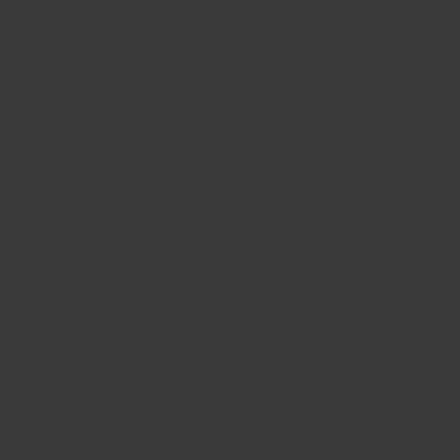that doesn't make them any more bra... Detroit Snooze and to the rest of the m... have been mere militants defending th... the other dictators were only politician... prevailed. German civilians were unin... conscientious media that we have wo... And to Norman Blitzer: Israelis try a... strikes but its not always possible whe... they are hide among civilians, particu... about it because the media would ne... the facts straight before you rush to in... enemies are instead of sympathizing...
Jew Chick on May 21, 2007 at 2:52 pm
Reply
[Figure (photo): Small avatar image placeholder with broken image icon]
If there's one species of m... Pali. Male or female, adult or ju... Fuck 'em and good riddan...
muhammedfuckspigs on May 21, 2007...